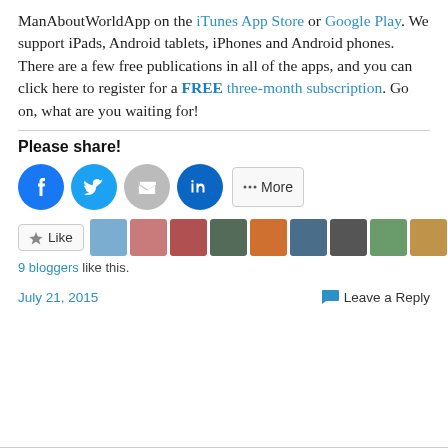ManAboutWorldApp on the iTunes App Store or Google Play. We support iPads, Android tablets, iPhones and Android phones. There are a few free publications in all of the apps, and you can click here to register for a FREE three-month subscription. Go on, what are you waiting for!
Please share!
[Figure (infographic): Social share buttons: Facebook (blue circle), Twitter (blue circle), Email (grey circle), LinkedIn (dark teal circle), and a More button]
[Figure (infographic): Like button and strip of 9 blogger avatar photos]
9 bloggers like this.
July 21, 2015   Leave a Reply